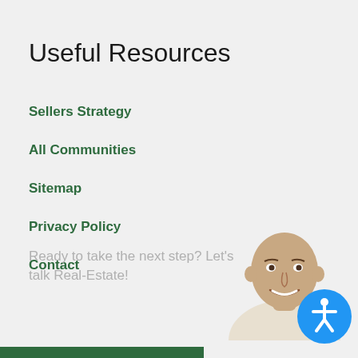Useful Resources
Sellers Strategy
All Communities
Sitemap
Privacy Policy
Contact
Ready to take the next step? Let's talk Real-Estate!
[Figure (photo): Headshot of a bald man smiling, wearing a white shirt, with a blue circular accessibility icon button overlapping in the bottom-right corner]
[Figure (other): Dark green horizontal bar at the bottom of the page]